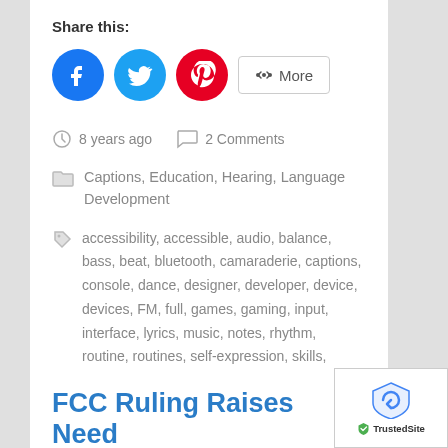Share this:
[Figure (other): Social share buttons: Facebook (blue circle), Twitter (light blue circle), Pinterest (red circle), and a More button with share icon]
8 years ago   2 Comments
Captions, Education, Hearing, Language Development
accessibility, accessible, audio, balance, bass, beat, bluetooth, camaraderie, captions, console, dance, designer, developer, device, devices, FM, full, games, gaming, input, interface, lyrics, music, notes, rhythm, routine, routines, self-expression, skills, social, sound, subtitles, teamwork, teen, text, user, video, visual
FCC Ruling Raises Need